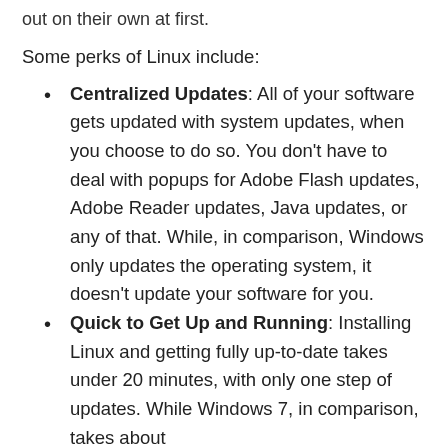out on their own at first.
Some perks of Linux include:
Centralized Updates: All of your software gets updated with system updates, when you choose to do so. You don't have to deal with popups for Adobe Flash updates, Adobe Reader updates, Java updates, or any of that. While, in comparison, Windows only updates the operating system, it doesn't update your software for you.
Quick to Get Up and Running: Installing Linux and getting fully up-to-date takes under 20 minutes, with only one step of updates. While Windows 7, in comparison, takes about